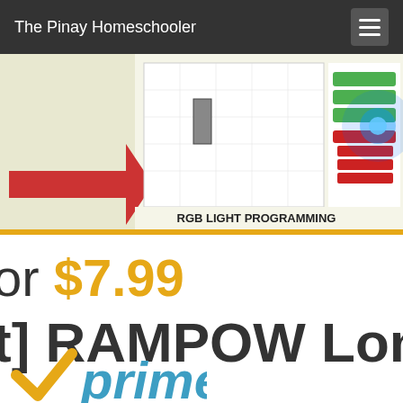The Pinay Homeschooler
[Figure (photo): Banner image showing RGB Light Programming lesson with Arduino, coding blocks on screen, and blue LED light. Text reads 'RGB LIGHT PROGRAMMING' and 'RGB LIGHT STRIP PROGRAMMING LESSONS']
or $7.99
[t] RAMPOW Long
[Figure (logo): Amazon Prime logo with orange checkmark and 'prime' text in teal/blue]